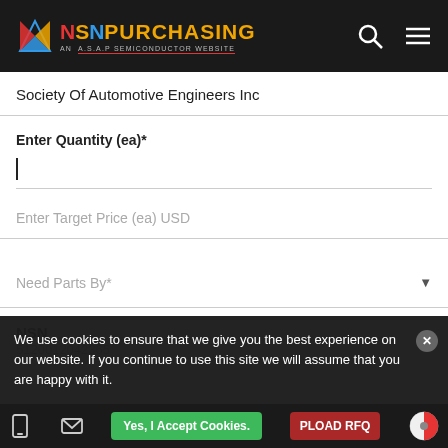NSN PURCHASING — AN A.S.A.P SEMICONDUCTOR WEBSITE
Society Of Automotive Engineers Inc
Enter Quantity (ea)*
Enter Target Price (ea) USD
Need Parts By*
NSN
5120012042365
We use cookies to ensure that we give you the best experience on our website. If you continue to use this site we will assume that you are happy with it.
Yes, I Accept Cookies.  UPLOAD RFQ